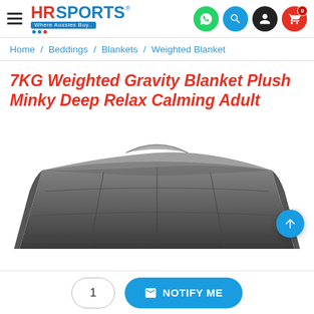HR Sports - Where Aussies Buy..
Home / Beddings / Blankets / Weighted Blanket
7KG Weighted Gravity Blanket Plush Minky Deep Relax Calming Adult
[Figure (photo): Gray weighted blanket folded at the top, showing quilted sections, photographed against white background.]
1  NOTIFY ME